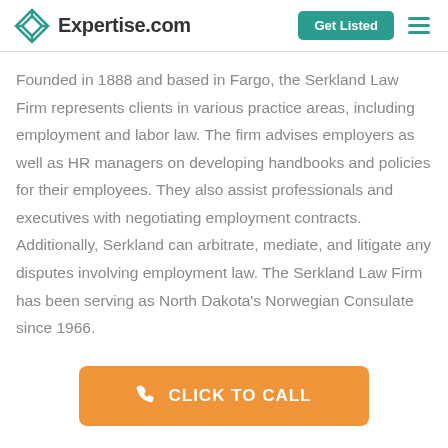Expertise.com
Founded in 1888 and based in Fargo, the Serkland Law Firm represents clients in various practice areas, including employment and labor law. The firm advises employers as well as HR managers on developing handbooks and policies for their employees. They also assist professionals and executives with negotiating employment contracts. Additionally, Serkland can arbitrate, mediate, and litigate any disputes involving employment law. The Serkland Law Firm has been serving as North Dakota's Norwegian Consulate since 1966.
CLICK TO CALL